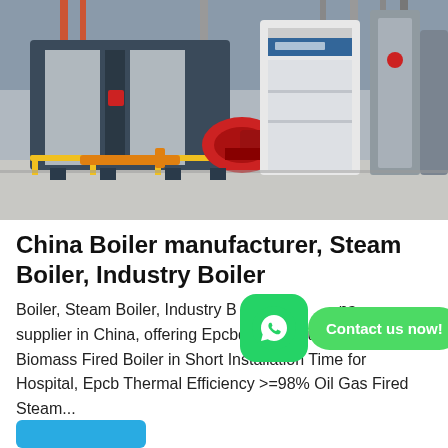[Figure (photo): Industrial boiler equipment in a factory/warehouse setting. Shows large horizontal steam boiler units with piping, a red burner assembly, yellow safety railing, and white/grey cladding on cylindrical tanks in the background.]
China Boiler manufacturer, Steam Boiler, Industry Boiler
[Figure (other): WhatsApp icon (green rounded square with white phone handset) overlaid with a green pill-shaped button labeled 'Contact us now!']
Boiler, Steam Boiler, Industry Boiler manufacturer / supplier in China, offering Epcbdouble Drums Coal Biomass Fired Boiler in Short Installation Time for Hospital, Epcb Thermal Efficiency >=98% Oil Gas Fired Steam...